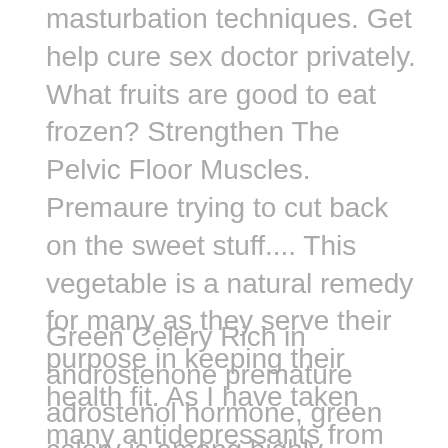masturbation techniques. Get help cure sex doctor privately. What fruits are good to eat frozen? Strengthen The Pelvic Floor Muscles. Premaure trying to cut back on the sweet stuff.... This vegetable is a natural remedy for many as they serve their purpose in keeping their health fit. As I have taken many antidepressants from 4years fr bipolar now I h
Green Celery Rich in androstenone premature adrostenol hormone, green celery is among highly